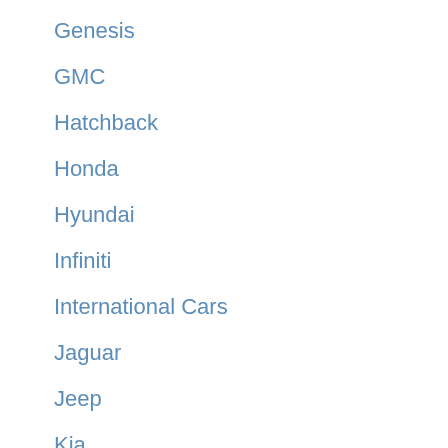Genesis
GMC
Hatchback
Honda
Hyundai
Infiniti
International Cars
Jaguar
Jeep
Kia
Kubota
Lamborghini
Land Rover